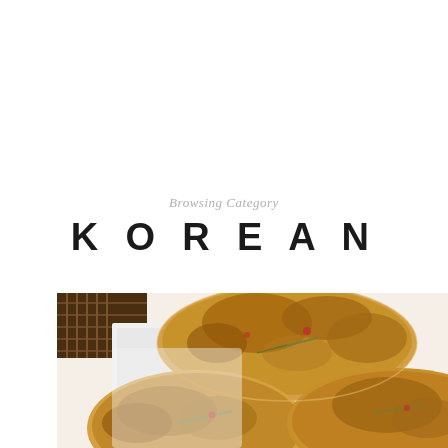Browsing Category
KOREAN
[Figure (photo): Close-up photo of Korean hotteok (sweet pan-fried pancakes) with golden-brown tops, displayed on a white surface with a wooden bowl or basket visible in the upper left corner.]